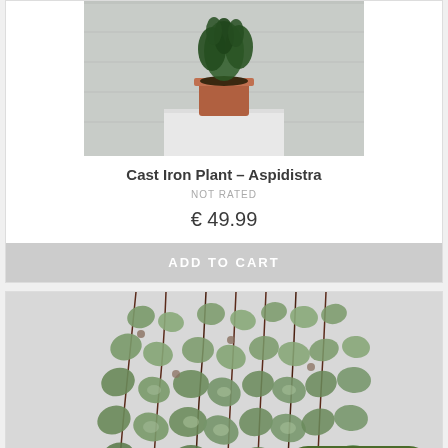[Figure (photo): Cast Iron Plant (Aspidistra) in a terracotta pot on a white surface against a grey/white background]
Cast Iron Plant – Aspidistra
NOT RATED
€ 49.99
ADD TO CART
[Figure (photo): Close-up of trailing heart-shaped green leaves (Ceropegia woodii / String of Hearts type plant) hanging down with mottled green and silver pattern]
Chat with us